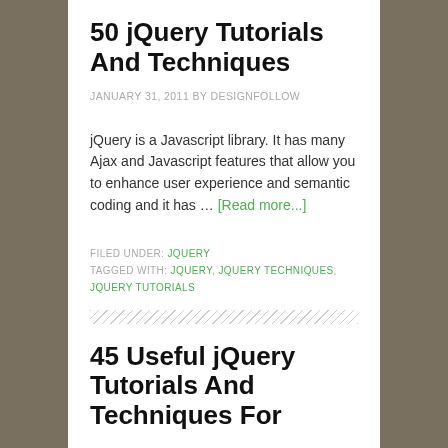50 jQuery Tutorials And Techniques
JANUARY 31, 2011 BY DESIGNFOLLOW
jQuery is a Javascript library. It has many Ajax and Javascript features that allow you to enhance user experience and semantic coding and it has … [Read more...]
FILED UNDER: JQUERY
TAGGED WITH: JQUERY, JQUERY TECHNIQUES, JQUERY TUTORIALS
45 Useful jQuery Tutorials And Techniques For